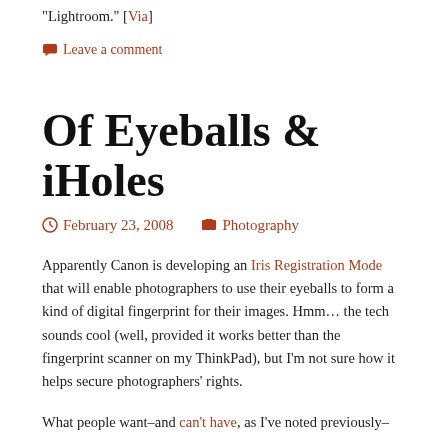"Lightroom." [Via]
Leave a comment
Of Eyeballs & iHoles
February 23, 2008   Photography
Apparently Canon is developing an Iris Registration Mode that will enable photographers to use their eyeballs to form a kind of digital fingerprint for their images. Hmm… the tech sounds cool (well, provided it works better than the fingerprint scanner on my ThinkPad), but I'm not sure how it helps secure photographers' rights.
What people want–and can't have, as I've noted previously–